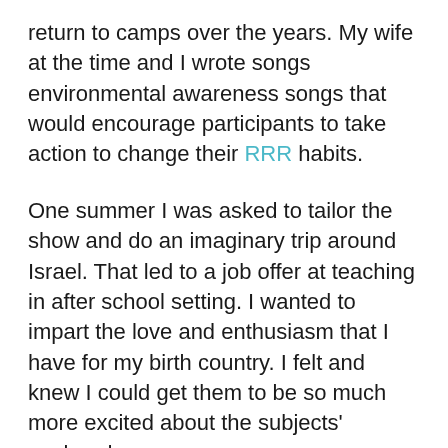return to camps over the years. My wife at the time and I wrote songs environmental awareness songs that would encourage participants to take action to change their RRR habits.
One summer I was asked to tailor the show and do an imaginary trip around Israel. That led to a job offer at teaching in after school setting. I wanted to impart the love and enthusiasm that I have for my birth country. I felt and knew I could get them to be so much more excited about the subjects' explored.
By 94 I was teaching full time at a dual curriculum private school. Not having completed formal teaching program gave me a different perspective about to how to...